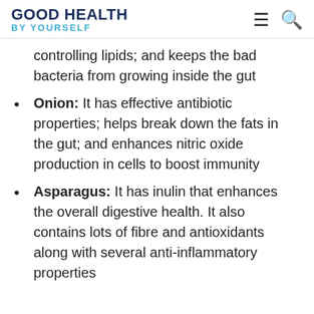GOOD HEALTH by YOURSELF
controlling lipids; and keeps the bad bacteria from growing inside the gut
Onion: It has effective antibiotic properties; helps break down the fats in the gut; and enhances nitric oxide production in cells to boost immunity
Asparagus: It has inulin that enhances the overall digestive health. It also contains lots of fibre and antioxidants along with several anti-inflammatory properties